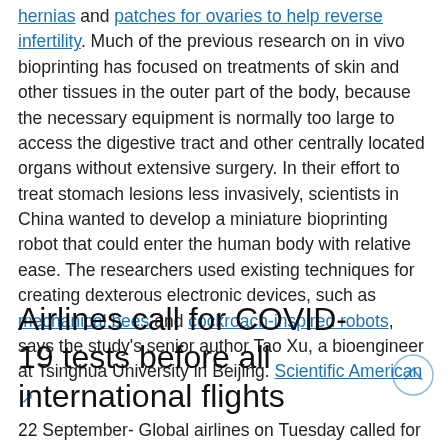hernias and patches for ovaries to help reverse infertility. Much of the previous research on in vivo bioprinting has focused on treatments of skin and other tissues in the outer part of the body, because the necessary equipment is normally too large to access the digestive tract and other centrally located organs without extensive surgery. In their effort to treat stomach lesions less invasively, scientists in China wanted to develop a miniature bioprinting robot that could enter the human body with relative ease. The researchers used existing techniques for creating dexterous electronic devices, such as mechanical bees and cockroach-inspired robots, says the study's senior author Tao Xu, a bioengineer at Tsinghua University in Beijing. Scientific American
Airlines call for COVID-19 tests before all international flights
22 September- Global airlines on Tuesday called for pre-